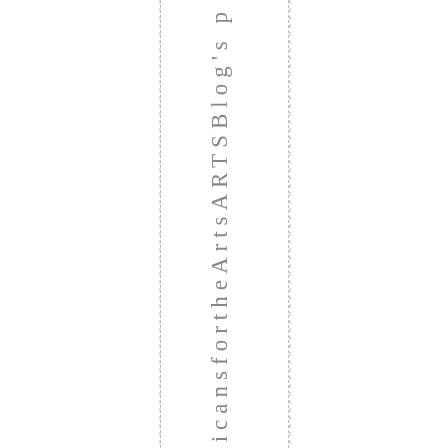ericansfortheArtsARTSBlog'sp p